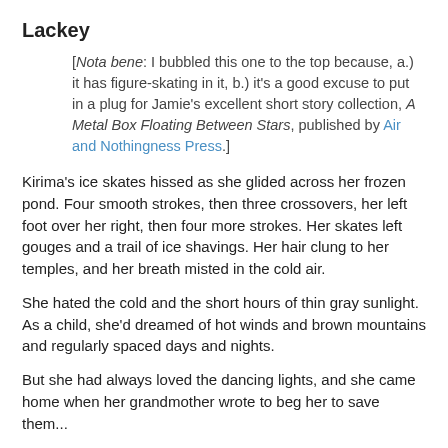Lackey
[Nota bene: I bubbled this one to the top because, a.) it has figure-skating in it, b.) it's a good excuse to put in a plug for Jamie's excellent short story collection, A Metal Box Floating Between Stars, published by Air and Nothingness Press.]
Kirima's ice skates hissed as she glided across her frozen pond. Four smooth strokes, then three crossovers, her left foot over her right, then four more strokes. Her skates left gouges and a trail of ice shavings. Her hair clung to her temples, and her breath misted in the cold air.
She hated the cold and the short hours of thin gray sunlight. As a child, she'd dreamed of hot winds and brown mountains and regularly spaced days and nights.
But she had always loved the dancing lights, and she came home when her grandmother wrote to beg her to save them...